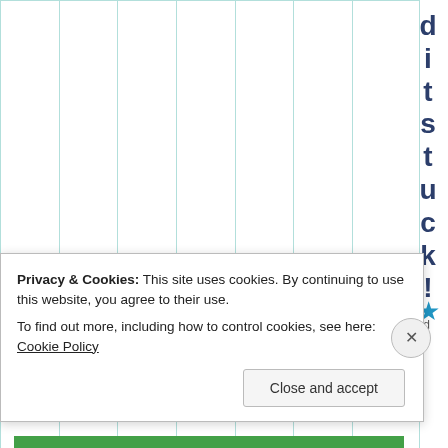[Figure (other): Table grid area with vertical green-tinted column dividers, empty cells forming a multi-column layout]
d i t s t u c k !
[Figure (other): Blue star icon]
Privacy & Cookies: This site uses cookies. By continuing to use this website, you agree to their use. To find out more, including how to control cookies, see here: Cookie Policy
Close and accept